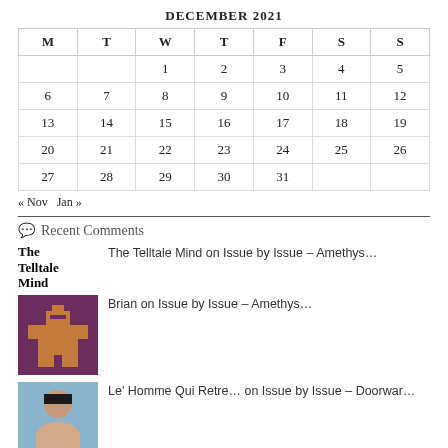DECEMBER 2021
| M | T | W | T | F | S | S |
| --- | --- | --- | --- | --- | --- | --- |
|  |  | 1 | 2 | 3 | 4 | 5 |
| 6 | 7 | 8 | 9 | 10 | 11 | 12 |
| 13 | 14 | 15 | 16 | 17 | 18 | 19 |
| 20 | 21 | 22 | 23 | 24 | 25 | 26 |
| 27 | 28 | 29 | 30 | 31 |  |  |
« Nov  Jan »
Recent Comments
The Telltale Mind on Issue by Issue – Amethys…
Brian on Issue by Issue – Amethys…
Le' Homme Qui Retre… on Issue by Issue – Doorwar…